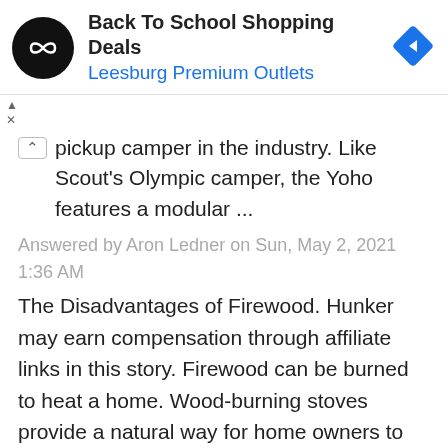[Figure (other): Advertisement banner: Back To School Shopping Deals, Leesburg Premium Outlets. Black circular logo with infinity-like symbol, blue navigation arrow diamond icon on right.]
pickup camper in the industry. Like Scout's Olympic camper, the Yoho features a modular ...
Answered by Aron Ledner on Sun, May 2, 2021 1:36 AM
The Disadvantages of Firewood. Hunker may earn compensation through affiliate links in this story. Firewood can be burned to heat a home. Wood-burning stoves provide a natural way for home owners to heat their residence, which is one of the advantages of firewood. While many owners prefer using wood as source of energy in log-burning stoves ...